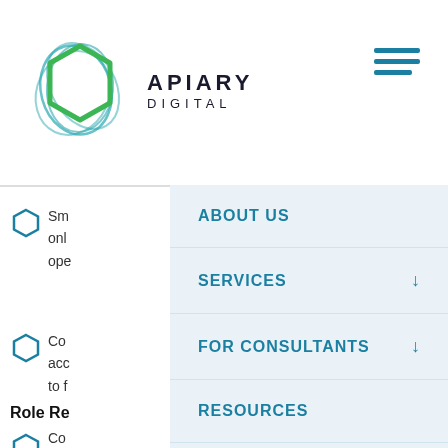[Figure (logo): Apiary Digital logo with hexagon icon and text reading APIARY DIGITAL]
[Figure (other): Hamburger menu icon with three horizontal blue lines]
Sm...
Co...
Role Re...
Co...
ABOUT US
SERVICES
FOR CONSULTANTS
RESOURCES
CONTACT US